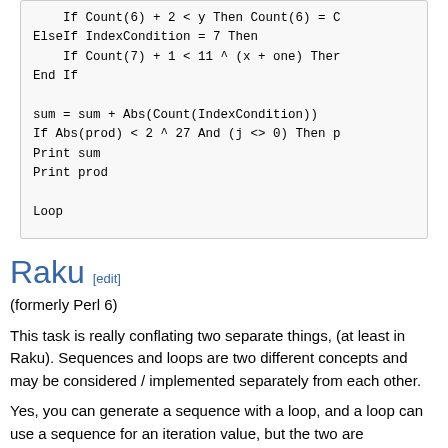[Figure (other): Code block showing VBA/Basic code snippet with ElseIf, Count, sum, Abs, Print, and Loop statements]
Raku [edit]
(formerly Perl 6)
This task is really conflating two separate things, (at least in Raku). Sequences and loops are two different concepts and may be considered / implemented separately from each other.
Yes, you can generate a sequence with a loop, and a loop can use a sequence for an iteration value, but the two are